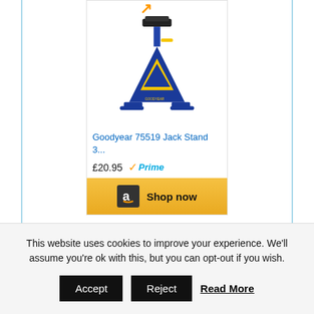[Figure (screenshot): Amazon product ad showing a Goodyear 75519 Jack Stand in blue and yellow with price £20.95 and Amazon Prime badge, with a Shop now button]
Goodyear 75519 Jack Stand 3...
£20.95 Prime
Shop now
90% buyer satisfaction from over 400+ customer reviews
This website uses cookies to improve your experience. We'll assume you're ok with this, but you can opt-out if you wish.
Accept  Reject  Read More